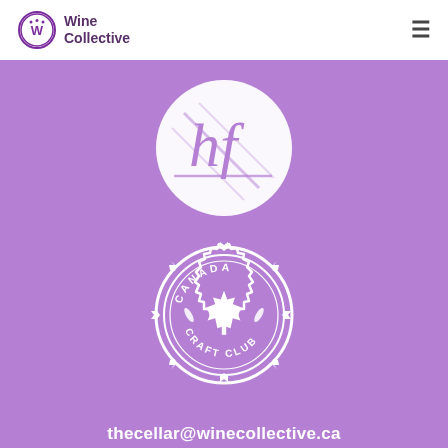[Figure (logo): Wine Collective logo: purple circle with stylized W, text 'Wine Collective']
[Figure (logo): hf script logo: white circle on purple background with stylized 'hf' handwritten letters]
[Figure (logo): Canada Craft Club badge: white gear/medallion shape on purple, maple leaf center, text 'CANADA CRAFT CLUB']
thecellar@winecollective.ca